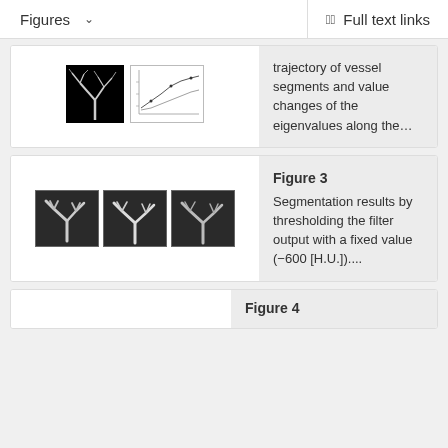Figures   Full text links
[Figure (photo): Medical image showing vessel segmentation thumbnail (dark background with branching vessel structure) and a line graph thumbnail]
trajectory of vessel segments and value changes of the eigenvalues along the...
[Figure (photo): Three grayscale medical image thumbnails showing segmentation results of vessel/airway structures]
Figure 3 Segmentation results by thresholding the filter output with a fixed value (−600 [H.U.])....
Figure 4